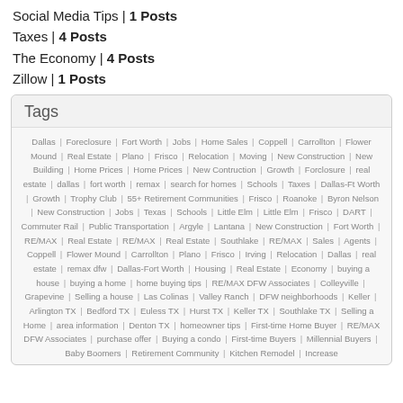Social Media Tips | 1 Posts
Taxes | 4 Posts
The Economy | 4 Posts
Zillow | 1 Posts
Tags
Dallas | Foreclosure | Fort Worth | Jobs | Home Sales | Coppell | Carrollton | Flower Mound | Real Estate | Plano | Frisco | Relocation | Moving | New Construction | New Building | Home Prices | Home Prices | New Contruction | Growth | Forclosure | real estate | dallas | fort worth | remax | search for homes | Schools | Taxes | Dallas-Ft Worth | Growth | Trophy Club | 55+ Retirement Communities | Frisco | Roanoke | Byron Nelson | New Construction | Jobs | Texas | Schools | Little Elm | Little Elm | Frisco | DART | Commuter Rail | Public Transportation | Argyle | Lantana | New Construction | Fort Worth | RE/MAX | Real Estate | RE/MAX | Real Estate | Southlake | RE/MAX | Sales | Agents | Coppell | Flower Mound | Carrollton | Plano | Frisco | Irving | Relocation | Dallas | real estate | remax dfw | Dallas-Fort Worth | Housing | Real Estate | Economy | buying a house | buying a home | home buying tips | RE/MAX DFW Associates | Colleyville | Grapevine | Selling a house | Las Colinas | Valley Ranch | DFW neighborhoods | Keller | Arlington TX | Bedford TX | Euless TX | Hurst TX | Keller TX | Southlake TX | Selling a Home | area information | Denton TX | homeowner tips | First-time Home Buyer | RE/MAX DFW Associates | purchase offer | Buying a condo | First-time Buyers | Millennial Buyers | Baby Boomers | Retirement Community | Kitchen Remodel | Increase